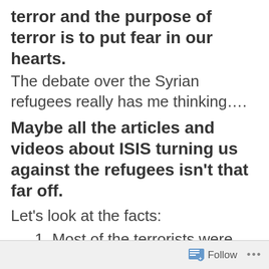terror and the purpose of terror is to put fear in our hearts.
The debate over the Syrian refugees really has me thinking….
Maybe all the articles and videos about ISIS turning us against the refugees isn't that far off.
Let's look at the facts:
1. Most of the terrorists were
Follow ...